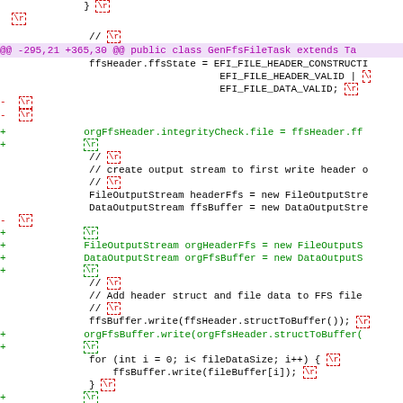[Figure (screenshot): A diff/patch view of Java source code showing removed (red -) and added (green +) lines with \r newline markers. Shows changes to GenFfsFileTask class with additions for orgFfsHeader, orgHeaderFfs, orgFfsBuffer variables and related code.]